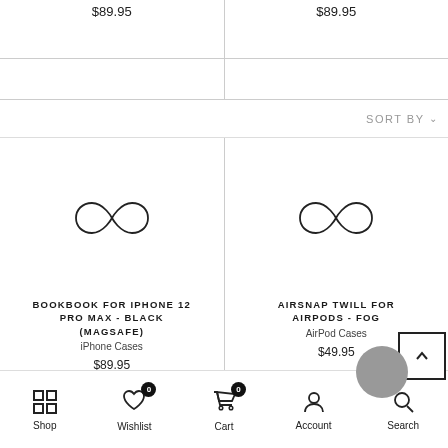$89.95 | $89.95
SORT BY
[Figure (illustration): Product card: BookBook for iPhone 12 Pro Max - Black (MagSafe) with infinity logo, iPhone Cases, $89.95]
[Figure (illustration): Product card: AirSnap Twill for AirPods - Fog with infinity logo, AirPod Cases, $49.95]
Shop | Wishlist 0 | Cart 0 | Account | Search